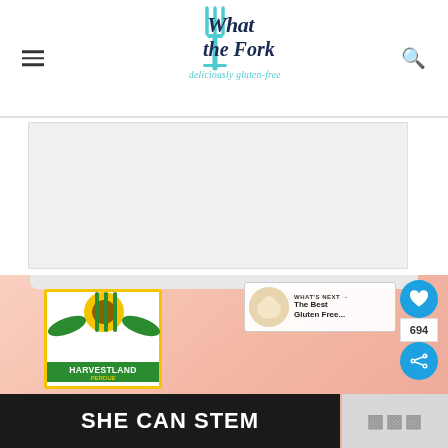What the Fork - deliciously gluten-free
[Figure (photo): Advertisement gray block placeholder]
[Figure (photo): Raw chicken thighs in a white styrofoam tray with a Harvestland by Perdue label]
694
WHAT'S NEXT → The Best Gluten Free...
[Figure (logo): SHE CAN STEM banner in black background with white bold text]